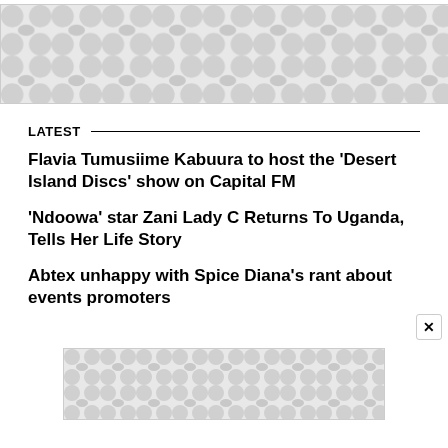[Figure (other): Advertisement banner placeholder with decorative dot/bowtie pattern in light grey]
LATEST
Flavia Tumusiime Kabuura to host the 'Desert Island Discs' show on Capital FM
'Ndoowa' star Zani Lady C Returns To Uganda, Tells Her Life Story
Abtex unhappy with Spice Diana's rant about events promoters
[Figure (other): Advertisement banner placeholder with decorative dot/bowtie pattern in light grey]